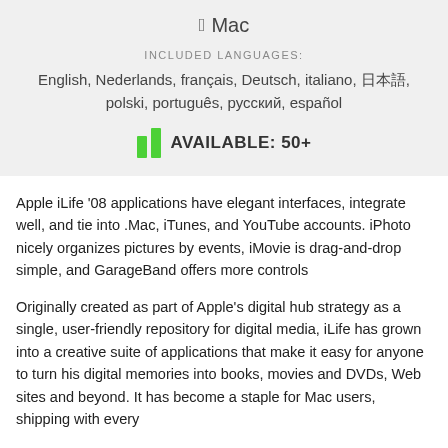[Figure (logo): Apple logo with Mac text]
INCLUDED LANGUAGES:
English, Nederlands, français, Deutsch, italiano, 日本語, polski, português, русский, español
[Figure (infographic): Two green bars icon with text AVAILABLE: 50+]
Apple iLife '08 applications have elegant interfaces, integrate well, and tie into .Mac, iTunes, and YouTube accounts. iPhoto nicely organizes pictures by events, iMovie is drag-and-drop simple, and GarageBand offers more controls
Originally created as part of Apple's digital hub strategy as a single, user-friendly repository for digital media, iLife has grown into a creative suite of applications that make it easy for anyone to turn his digital memories into books, movies and DVDs, Web sites and beyond. It has become a staple for Mac users, shipping with every